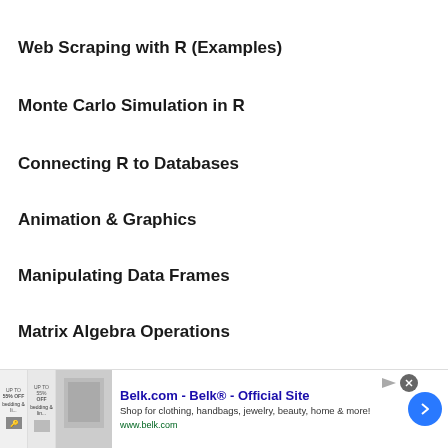Web Scraping with R (Examples)
Monte Carlo Simulation in R
Connecting R to Databases
Animation & Graphics
Manipulating Data Frames
Matrix Algebra Operations
Sampling
[Figure (other): Advertisement banner for Belk.com - Belk Official Site. Shows ad images on left, text 'Belk.com - Belk® - Official Site', 'Shop for clothing, handbags, jewelry, beauty, home & more!', 'www.belk.com', with close button and arrow navigation button.]